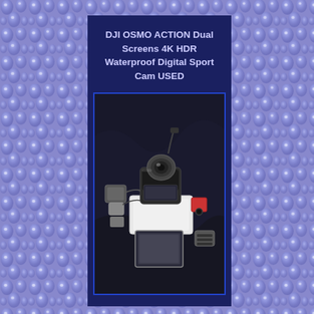[Figure (photo): Blue/purple bubble-textured background covering the entire page]
DJI OSMO ACTION Dual Screens 4K HDR Waterproof Digital Sport Cam USED
[Figure (photo): Photograph of a DJI Osmo Action camera with accessories including battery, mount hardware, and protective case components, displayed on a dark fabric background]